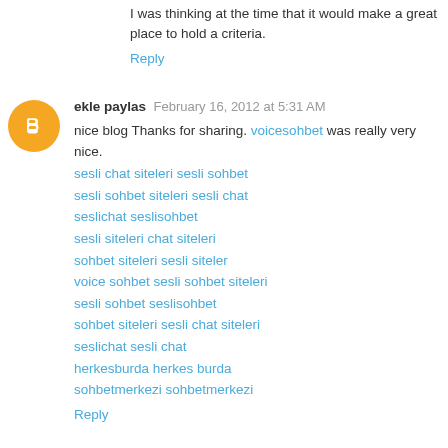Viagra Online July 14, 2010 at 6:31 PM
I was thinking at the time that it would make a great place to hold a criteria.
Reply
ekle paylas February 16, 2012 at 5:31 AM
nice blog Thanks for sharing. voicesohbet was really very nice.
sesli chat siteleri sesli sohbet
sesli sohbet siteleri sesli chat
seslichat seslisohbet
sesli siteleri chat siteleri
sohbet siteleri sesli siteler
voice sohbet sesli sohbet siteleri
sesli sohbet seslisohbet
sohbet siteleri sesli chat siteleri
seslichat sesli chat
herkesburda herkes burda
sohbetmerkezi sohbetmerkezi
Reply